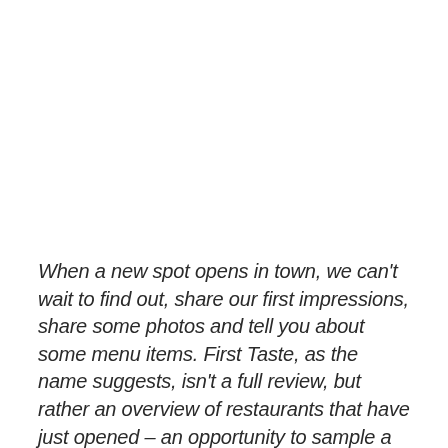When a new spot opens in town, we can't wait to find out, share our first impressions, share some photos and tell you about some menu items. First Taste, as the name suggests, isn't a full review, but rather an overview of restaurants that have just opened – an opportunity to sample a few items and satisfy curiosities (yours and